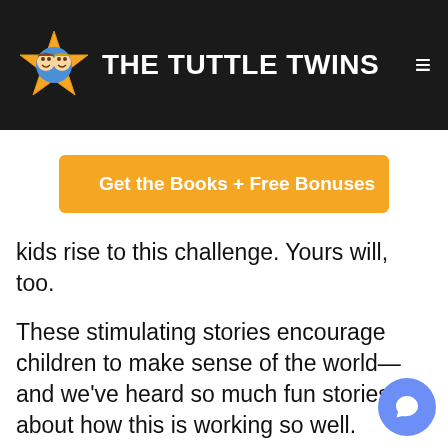THE TUTTLE TWINS
[Figure (illustration): Tuttle Twins logo: cartoon children faces on a star badge]
Get the Books + Free Bonuses
kids rise to this challenge. Yours will, too.
These stimulating stories encourage children to make sense of the world—and we've heard so much fun stories about how this is working so well.
One mom wrote us this: “I took my kids to the grocery store a few days after we read one of the Tuttle Twins books about free markets. We were